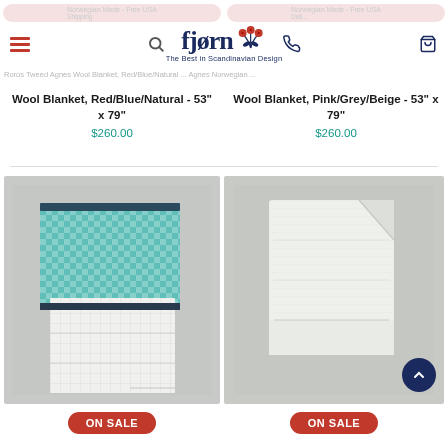fjorn - The Best in Scandinavian Design
Norwegian Made - Free USA Shipping
Norwegian Made - Free USA Delivery
Roros Tweed Agnes Wool Blanket, Red/Blue/Natural - 53" x 79" $260.00
Wool Blanket, Red/Blue/Natural - 53" x 79"
$260.00
Wool Blanket, Pink/Grey/Beige - 53" x 79"
$260.00
[Figure (photo): Folded wool blanket with teal/blue and white checkered pattern, shown partially unfolded on grey background]
ON SALE
[Figure (photo): Folded wool blanket in white/cream/light green color, shown folded on grey background]
ON SALE